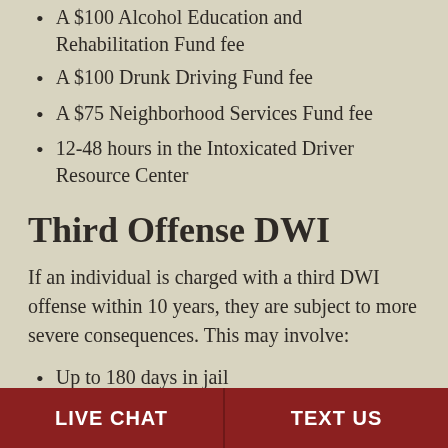A $100 Alcohol Education and Rehabilitation Fund fee
A $100 Drunk Driving Fund fee
A $75 Neighborhood Services Fund fee
12-48 hours in the Intoxicated Driver Resource Center
Third Offense DWI
If an individual is charged with a third DWI offense within 10 years, they are subject to more severe consequences. This may involve:
Up to 180 days in jail
Loss of license for 10 years
LIVE CHAT | TEXT US